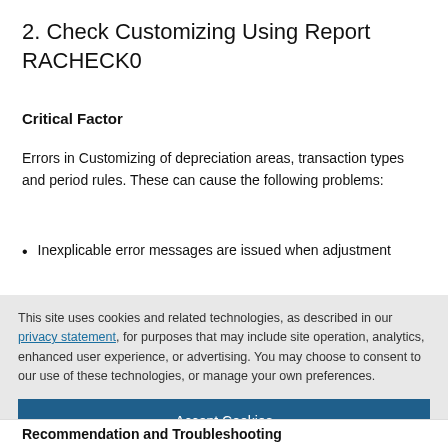2. Check Customizing Using Report RACHECK0
Critical Factor
Errors in Customizing of depreciation areas, transaction types and period rules. These can cause the following problems:
Inexplicable error messages are issued when adjustment
This site uses cookies and related technologies, as described in our privacy statement, for purposes that may include site operation, analytics, enhanced user experience, or advertising. You may choose to consent to our use of these technologies, or manage your own preferences.
Accept Cookies
More Information
Privacy Policy | Powered by: TrustArc
Recommendation and Troubleshooting